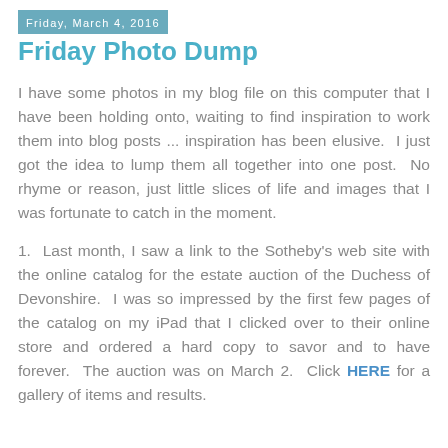Friday, March 4, 2016
Friday Photo Dump
I have some photos in my blog file on this computer that I have been holding onto, waiting to find inspiration to work them into blog posts ... inspiration has been elusive.  I just got the idea to lump them all together into one post.  No rhyme or reason, just little slices of life and images that I was fortunate to catch in the moment.
1.  Last month, I saw a link to the Sotheby's web site with the online catalog for the estate auction of the Duchess of Devonshire.  I was so impressed by the first few pages of the catalog on my iPad that I clicked over to their online store and ordered a hard copy to savor and to have forever.  The auction was on March 2.  Click HERE for a gallery of items and results.